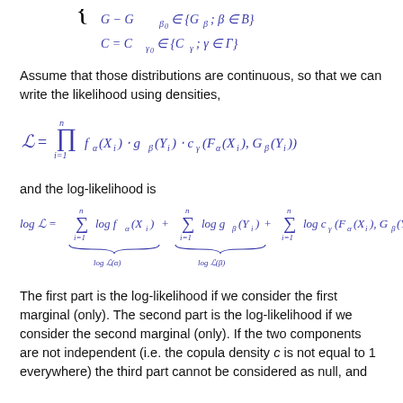Assume that those distributions are continuous, so that we can write the likelihood using densities,
and the log-likelihood is
The first part is the log-likelihood if we consider the first marginal (only). The second part is the log-likelihood if we consider the second marginal (only). If the two components are not independent (i.e. the copula density c is not equal to 1 everywhere) the third part cannot be considered as null, and